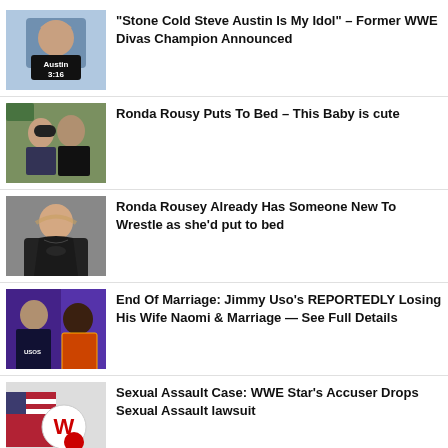[Figure (photo): Wrestling figure wearing Austin 3:16 shirt]
“Stone Cold Steve Austin Is My Idol” – Former WWE Divas Champion Announced
[Figure (photo): Couple posing together, man wearing black cap]
Ronda Rousy Puts To Bed – This Baby is cute
[Figure (photo): Ronda Rousey portrait against grey background]
Ronda Rousey Already Has Someone New To Wrestle as she’d put to bed
[Figure (photo): Jimmy Uso and Naomi side by side]
End Of Marriage: Jimmy Uso’s REPORTEDLY Losing His Wife Naomi & Marriage — See Full Details
[Figure (photo): WWE logo with American flag]
Sexual Assault Case: WWE Star’s Accuser Drops Sexual Assault lawsuit